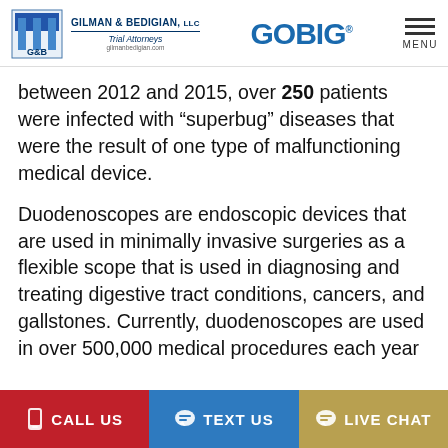GILMAN & BEDIGIAN, LLC Trial Attorneys | GOBIG | MENU
between 2012 and 2015, over 250 patients were infected with “superbug” diseases that were the result of one type of malfunctioning medical device.
Duodenoscopes are endoscopic devices that are used in minimally invasive surgeries as a flexible scope that is used in diagnosing and treating digestive tract conditions, cancers, and gallstones. Currently, duodenoscopes are used in over 500,000 medical procedures each year
CALL US | TEXT US | LIVE CHAT